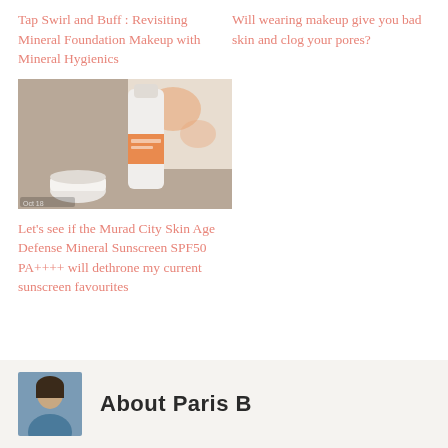Tap Swirl and Buff : Revisiting Mineral Foundation Makeup with Mineral Hygienics
Will wearing makeup give you bad skin and clog your pores?
[Figure (photo): Murad City Skin Age Defense Mineral Sunscreen product bottle on a knit fabric background with floral papers]
Let's see if the Murad City Skin Age Defense Mineral Sunscreen SPF50 PA++++ will dethrone my current sunscreen favourites
About Paris B